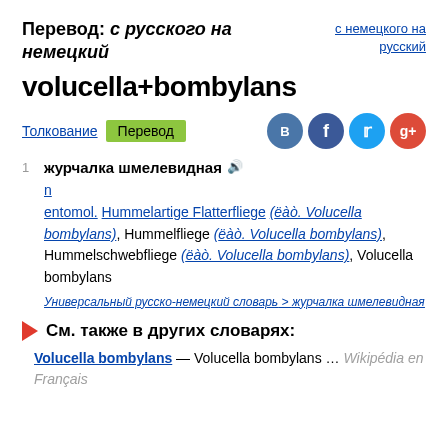Перевод: с русского на немецкий
с немецкого на русский
volucella+bombylans
Толкование   Перевод
1 журчалка шмелевидная
n
entomol. Hummelartige Flatterfliege (ëàò. Volucella bombylans), Hummelfliege (ëàò. Volucella bombylans), Hummelschwebfliege (ëàò. Volucella bombylans), Volucella bombylans
Универсальный русско-немецкий словарь > журчалка шмелевидная
См. также в других словарях:
Volucella bombylans — Volucella bombylans … Wikipédia en Français